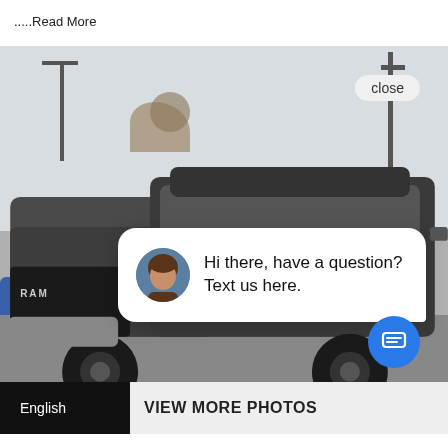.....Read More
[Figure (photo): A dark gray RAM pickup truck photographed in a dealership lot with a chat popup overlay saying 'Hi there, have a question? Text us here.' and a close button. There is a blue circular chat icon button at the bottom right.]
English
VIEW MORE PHOTOS